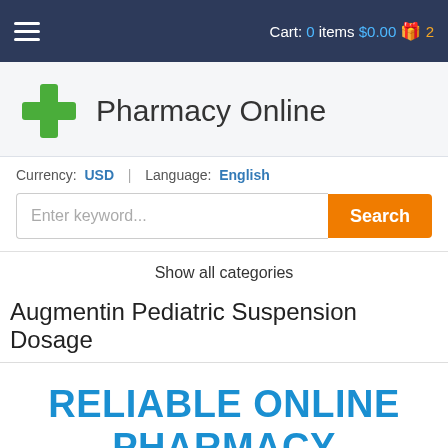Cart: 0 items $0.00 2
[Figure (logo): Green plus/cross pharmacy logo with text 'Pharmacy Online']
Currency: USD | Language: English
Enter keyword...  Search
Show all categories
Augmentin Pediatric Suspension Dosage
RELIABLE ONLINE PHARMACY
> Click here to order now